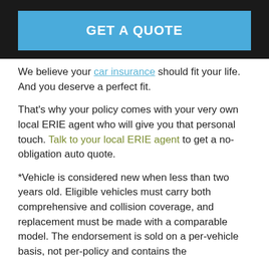[Figure (other): GET A QUOTE button, blue background with white bold text]
We believe your car insurance should fit your life. And you deserve a perfect fit.
That's why your policy comes with your very own local ERIE agent who will give you that personal touch. Talk to your local ERIE agent to get a no-obligation auto quote.
*Vehicle is considered new when less than two years old. Eligible vehicles must carry both comprehensive and collision coverage, and replacement must be made with a comparable model. The endorsement is sold on a per-vehicle basis, not per-policy and contains the